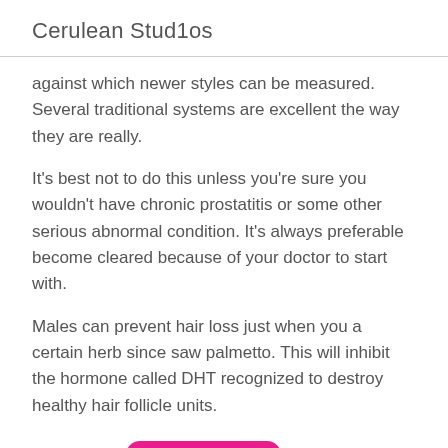Cerulean Stud1os
against which newer styles can be measured. Several traditional systems are excellent the way they are really.
It's best not to do this unless you're sure you wouldn't have chronic prostatitis or some other serious abnormal condition. It's always preferable become cleared because of your doctor to start with.
Males can prevent hair loss just when you a certain herb since saw palmetto. This will inhibit the hormone called DHT recognized to destroy healthy hair follicle units.
Categories: UNCATEGORIZED
[Figure (other): Social media icons: Facebook (dark blue circle with f), Twitter (light blue circle with bird), Email (grey circle with envelope)]